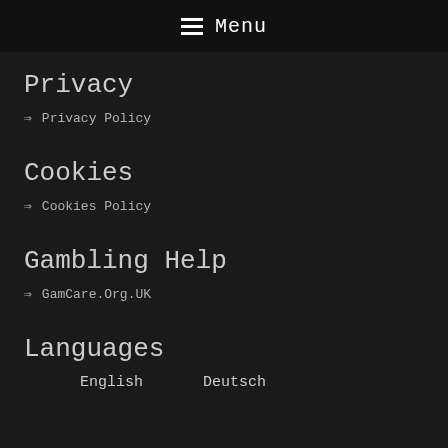Menu
Privacy
⇒  Privacy Policy
Cookies
⇒  Cookies Policy
Gambling Help
⇒  GamCare.Org.UK
Languages
English   Deutsch